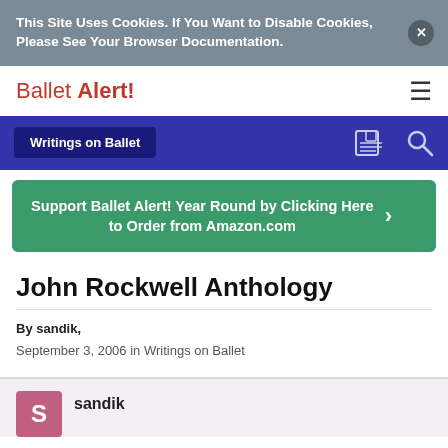This Site Uses Cookies. If You Want to Disable Cookies, Please See Your Browser Documentation.
Ballet Alert!
Writings on Ballet
Support Ballet Alert! Year Round by Clicking Here to Order from Amazon.com
John Rockwell Anthology
By sandik,
September 3, 2006 in Writings on Ballet
sandik